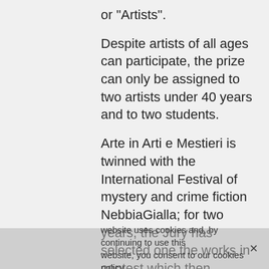or "Artists".
Despite artists of all ages can participate, the prize can only be assigned to two artists under 40 years and to two students.
Arte in Arti e Mestieri is twinned with the International Festival of mystery and crime fiction NebbiaGialla; for two years, the Jury has selected one the works in contest which then constitutes the Special Prize "NebbiaGialla", and is handed over to the winner of that event, at a public ceremony.
An Award is finally assigned to the work of art that receives more "likes" on the Arte in Arti e Mestieri Facebook page.
In recent years, alongside the works of the participating artists, a side exhibition has been set up, hosting works by